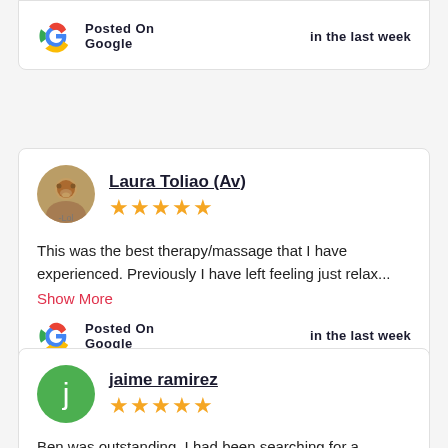[Figure (other): Google G logo]
Posted On Google
in the last week
[Figure (photo): Profile photo of a dog (Boo)]
Laura Toliao (Av)
[Figure (other): 5 gold stars rating]
This was the best therapy/massage that I have experienced. Previously I have left feeling just relax...
Show More
[Figure (other): Google G logo]
Posted On Google
in the last week
[Figure (other): Avatar with letter j on green circle]
jaime ramirez
[Figure (other): 5 gold stars rating]
Ben was outstanding. I had been searching for a massage therapist who specializes in pain...